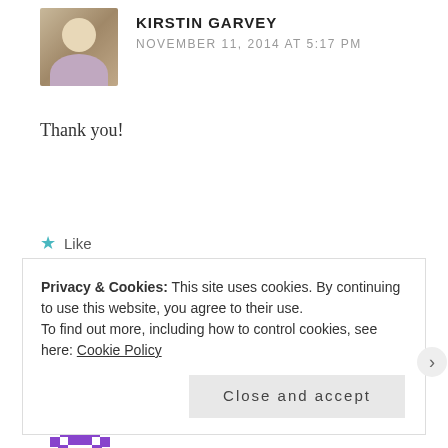[Figure (photo): Avatar photo of commenter Kirstin Garvey, a woman sitting outdoors]
KIRSTIN GARVEY
NOVEMBER 11, 2014 AT 5:17 PM
Thank you!
★ Like
Reply
[Figure (logo): Purple geometric/quilt pattern logo for Amy Grieve]
AMY GRIEVE
OCTOBER 29, 2014 AT 8:52 AM
Privacy & Cookies: This site uses cookies. By continuing to use this website, you agree to their use.
To find out more, including how to control cookies, see here: Cookie Policy
Close and accept